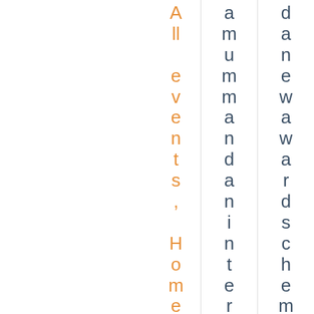All events, Home News, IE Activities, News, Webinar
a mum m a n d a n interpreter.
dane w a w ar d scheme, the Euro